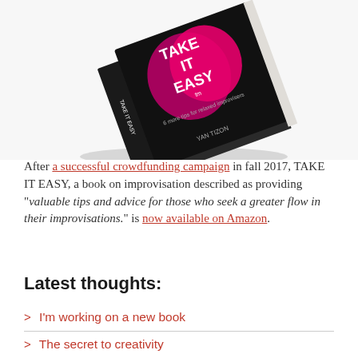[Figure (photo): A black book titled 'TAKE IT EASY' with a pink/magenta heart-like graphic on the cover, shown at an angle as a 3D book mockup on a white background.]
After a successful crowdfunding campaign in fall 2017, TAKE IT EASY, a book on improvisation described as providing “valuable tips and advice for those who seek a greater flow in their improvisations.” is now available on Amazon.
Latest thoughts:
> I’m working on a new book
> The secret to creativity